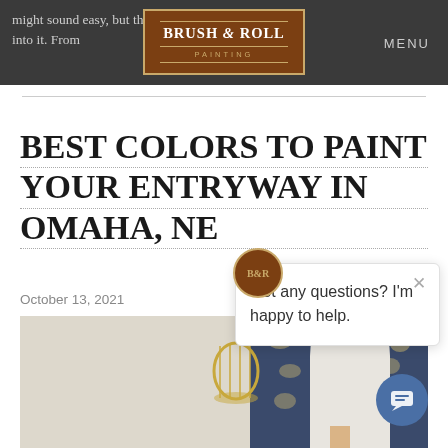might sound easy, but there's more that goes into it. From
[Figure (logo): Brush & Roll Painting logo — brown rectangle with gold border, white serif text]
MENU
BEST COLORS TO PAINT YOUR ENTRYWAY IN OMAHA, NE
October 13, 2021
Got any questions? I'm happy to help.
[Figure (photo): Entryway interior with gold pendant light, navy floral wallpaper, white mirror, and decorative elements]